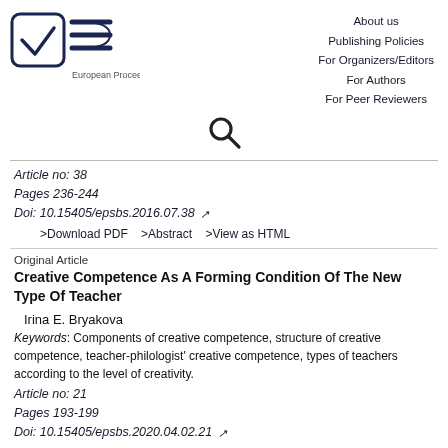[Figure (logo): European Proceedings logo with checkbox icon and EP symbol]
About us
Publishing Policies
For Organizers/Editors
For Authors
For Peer Reviewers
[Figure (other): Search icon (magnifying glass)]
Article no: 38
Pages 236-244
Doi: 10.15405/epsbs.2016.07.38
>Download PDF    >Abstract    >View as HTML
Original Article
Creative Competence As A Forming Condition Of The New Type Of Teacher
Irina E. Bryakova
Keywords: Components of creative competence, structure of creative competence, teacher-philologist' creative competence, types of teachers according to the level of creativity.
Article no: 21
Pages 193-199
Doi: 10.15405/epsbs.2020.04.02.21